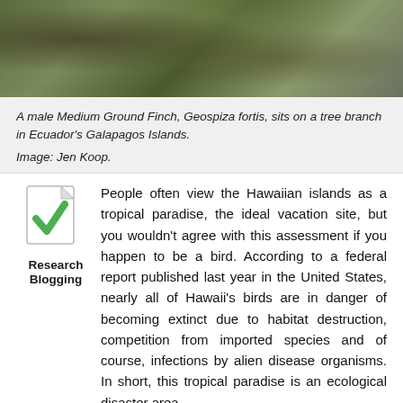[Figure (photo): Top portion of a photo showing a bird (Medium Ground Finch) on a tree branch in Ecuador's Galapagos Islands, viewed from above with foliage visible.]
A male Medium Ground Finch, Geospiza fortis, sits on a tree branch in Ecuador's Galapagos Islands.

Image: Jen Koop.
[Figure (logo): Research Blogging icon: a document page with a green checkmark, labeled 'Research Blogging']
People often view the Hawaiian islands as a tropical paradise, the ideal vacation site, but you wouldn't agree with this assessment if you happen to be a bird. According to a federal report published last year in the United States, nearly all of Hawaii's birds are in danger of becoming extinct due to habitat destruction, competition from imported species and of course, infections by alien disease organisms. In short, this tropical paradise is an ecological disaster area.
But the state of Hawaii's avifauna is not unique. Everywhere